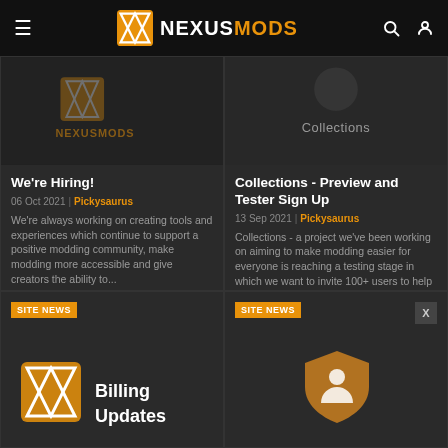NEXUSMODS
[Figure (screenshot): Dark card image with NexusMods logo watermark]
We're Hiring!
06 Oct 2021 | Pickysaurus
We're always working on creating tools and experiences which continue to support a positive modding community, make modding more accessible and give creators the ability to...
0 Comments
[Figure (screenshot): Dark card image with Collections text overlay]
Collections - Preview and Tester Sign Up
13 Sep 2021 | Pickysaurus
Collections - a project we've been working on aiming to make modding easier for everyone is reaching a testing stage in which we want to invite 100+ users to help us test. Anyone who is...
244 Comments
[Figure (screenshot): Bottom left card - SITE NEWS badge with Billing Updates title and NexusMods icon]
[Figure (screenshot): Bottom right card - SITE NEWS badge with X dismiss button and shield/person icon]